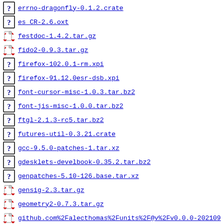errno-dragonfly-0.1.2.crate
es_CR-2.6.oxt
festdoc-1.4.2.tar.gz
fido2-0.9.3.tar.gz
firefox-102.0.1-rm.xpi
firefox-91.12.0esr-dsb.xpi
font-cursor-misc-1.0.3.tar.bz2
font-jis-misc-1.0.0.tar.bz2
ftgl-2.1.3-rc5.tar.bz2
futures-util-0.3.21.crate
gcc-9.5.0-patches-1.tar.xz
gdesklets-develbook-0.35.2.tar.bz2
genpatches-5.10-126.base.tar.xz
gensig-2.3.tar.gz
geometry2-0.7.3.tar.gz
github.com%2Falecthomas%2Funits%2F@v%2Fv0.0.0-202109
github.com%2Faws%2Faws-sdk-go-v2%2Fservice%2Finterna